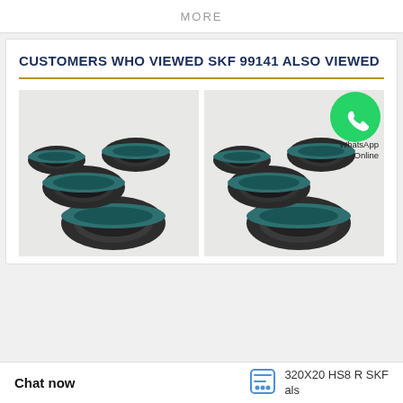MORE
CUSTOMERS WHO VIEWED SKF 99141 ALSO VIEWED
[Figure (photo): Two side-by-side product photos of teal/dark-colored mechanical oil seals (ring seals) grouped together on a white background. The right image has a WhatsApp icon overlay with text 'WhatsApp Online'.]
Chat now   320X20 HS8 R SKF als